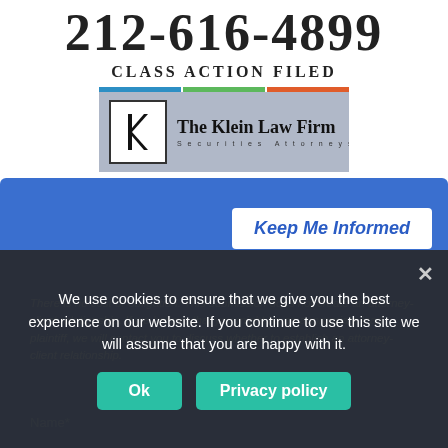212-616-4899
CLASS ACTION FILED
[Figure (logo): The Klein Law Firm logo with colored bars (blue, green, orange) at top, K lettermark in bordered box, firm name and 'Securities Attorneys' tagline on gray/photo background]
Keep Me Informed
There is no cost or obligation. This submission does not create an attorney-client relationship. If we believe that you might be an appropriate lead plaintiff, we will contact you to discuss whether to establish an attorney-client relationship.
Name*
Daytime Phone
We use cookies to ensure that we give you the best experience on our website. If you continue to use this site we will assume that you are happy with it.
Ok
Privacy policy